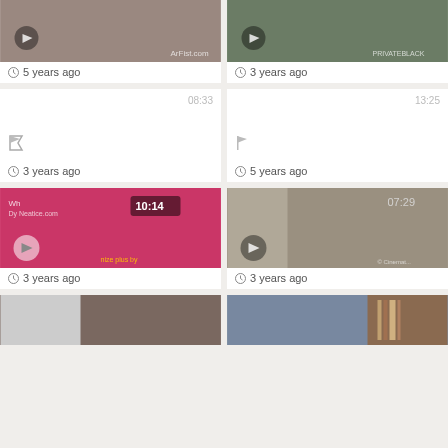[Figure (screenshot): Video thumbnail top-left with watermark ArFist.com]
5 years ago
[Figure (screenshot): Video thumbnail top-right with watermark PrivateBlack]
3 years ago
[Figure (screenshot): Blank/white video thumbnail with duration 08:33]
3 years ago
[Figure (screenshot): Blank/white video thumbnail with duration 13:25]
5 years ago
[Figure (screenshot): Pink fabric video thumbnail with duration 10:14 and watermark]
3 years ago
[Figure (screenshot): Couple on sofa video thumbnail with duration 07:29]
3 years ago
[Figure (screenshot): Partial thumbnail bottom-left]
[Figure (screenshot): Partial thumbnail bottom-right with bookshelf]